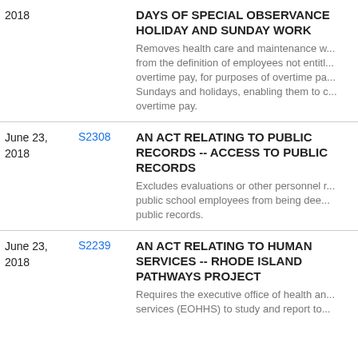| Date | Bill | Title/Description |
| --- | --- | --- |
| 2018 |  | DAYS OF SPECIAL OBSERVANCE HOLIDAY AND SUNDAY WORK
Removes health care and maintenance workers from the definition of employees not entitled to overtime pay, for purposes of overtime pay on Sundays and holidays, enabling them to collect overtime pay. |
| June 23, 2018 | S2308 | AN ACT RELATING TO PUBLIC RECORDS -- ACCESS TO PUBLIC RECORDS
Excludes evaluations or other personnel records of public school employees from being deemed public records. |
| June 23, 2018 | S2239 | AN ACT RELATING TO HUMAN SERVICES -- RHODE ISLAND PATHWAYS PROJECT
Requires the executive office of health and human services (EOHHS) to study and report to... |